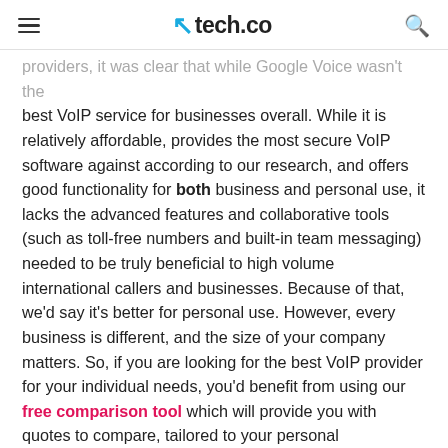tech.co
providers, it was clear that while Google Voice wasn't the best VoIP service for businesses overall. While it is relatively affordable, provides the most secure VoIP software against according to our research, and offers good functionality for both business and personal use, it lacks the advanced features and collaborative tools (such as toll-free numbers and built-in team messaging) needed to be truly beneficial to high volume international callers and businesses. Because of that, we'd say it's better for personal use. However, every business is different, and the size of your company matters. So, if you are looking for the best VoIP provider for your individual needs, you'd benefit from using our free comparison tool which will provide you with quotes to compare, tailored to your personal requirements.